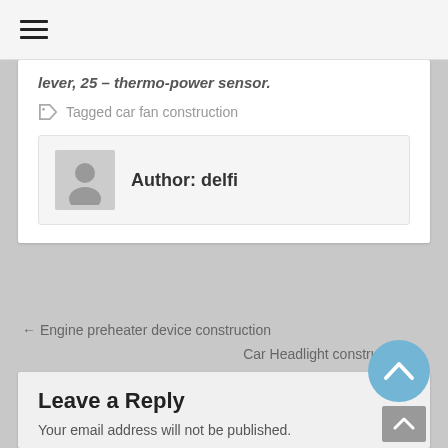☰ (hamburger menu)
lever, 25 – thermo-power sensor.
Tagged car fan construction
Author: delfi
← Engine preheater device construction
Car Headlight construction →
Leave a Reply
Your email address will not be published.